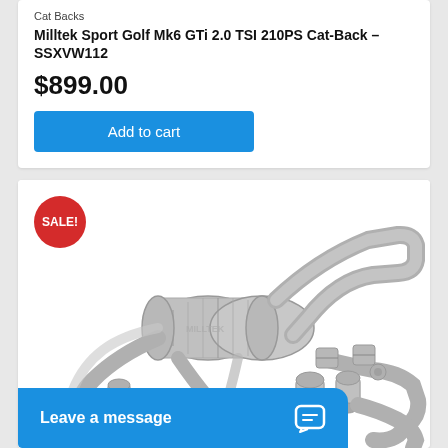Cat Backs
Milltek Sport Golf Mk6 GTi 2.0 TSI 210PS Cat-Back – SSXVW112
$899.00
Add to cart
[Figure (photo): Milltek Sport exhaust system cat-back kit with muffler, pipes, clamps and tips laid out on white background. A red SALE! badge is in the top-left corner of the product card.]
Leave a message